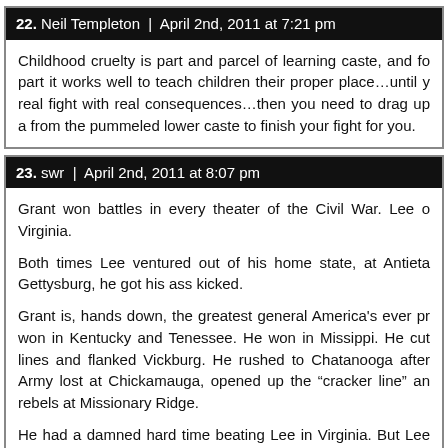22. Neil Templeton | April 2nd, 2011 at 7:21 pm
Childhood cruelty is part and parcel of learning caste, and for the most part it works well to teach children their proper place…until you have a real fight with real consequences…then you need to drag up a champion from the pummeled lower caste to finish your fight for you.
23. swr | April 2nd, 2011 at 8:07 pm
Grant won battles in every theater of the Civil War. Lee only won in Virginia.

Both times Lee ventured out of his home state, at Antietam and Gettysburg, he got his ass kicked.

Grant is, hands down, the greatest general America's ever produced. He won in Kentucky and Tenessee. He won in Missippi. He cut Confederate lines and flanked Vickburg. He rushed to Chatanooga after the Union Army lost at Chickamauga, opened up the "cracker line" and crushed the rebels at Missionary Ridge.

He had a damned hard time beating Lee in Virginia. But Lee W... general, was on his home turf, and had been fortifying Virginia...